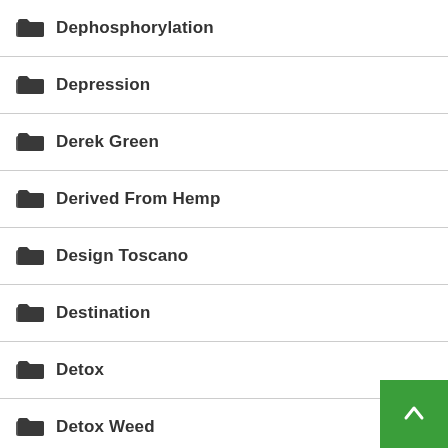Dephosphorylation
Depression
Derek Green
Derived From Hemp
Design Toscano
Destination
Detox
Detox Weed
Detoxing From Marijuana
Detroit
Device
Devices
Diaphragm